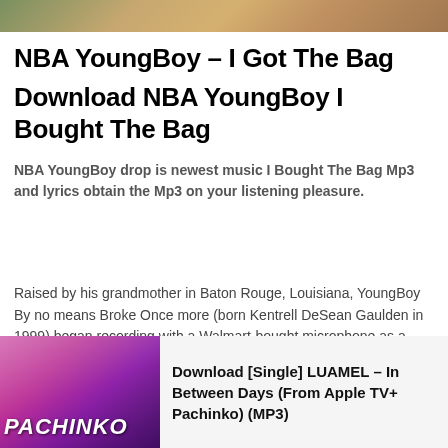[Figure (photo): Top partial image, cropped photo banner]
NBA YoungBoy – I Got The Bag
Download NBA YoungBoy I Bought The Bag
NBA YoungBoy drop is newest music I Bought The Bag Mp3 and lyrics obtain the Mp3 on your listening pleasure.
Raised by his grandmother in Baton Rouge, Louisiana, YoungBoy By no means Broke Once more (born Kentrell DeSean Gaulden in 1999) began recording with a Walmart-bought microphone as a young
[Figure (photo): Pachinko album/show cover art in pink and purple tones]
Download [Single] LUAMEL – In Between Days (From Apple TV+ Pachinko) (MP3)